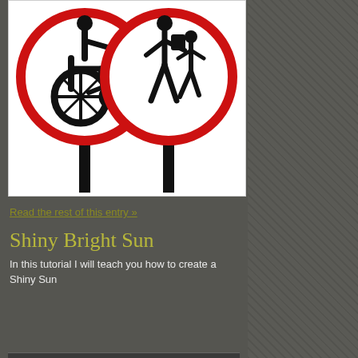[Figure (illustration): Two circular red-bordered signs on black poles: left sign shows wheelchair user (disability/accessibility symbol), right sign shows adult walking with child (pedestrian symbol)]
Read the rest of this entry »
Shiny Bright Sun
In this tutorial I will teach you how to create a Shiny Sun